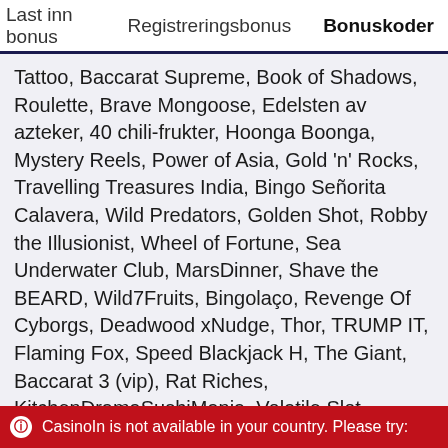Last inn bonus   Registreringsbonus   Bonuskoder
Tattoo, Baccarat Supreme, Book of Shadows, Roulette, Brave Mongoose, Edelsten av azteker, 40 chili-frukter, Hoonga Boonga, Mystery Reels, Power of Asia, Gold 'n' Rocks, Travelling Treasures India, Bingo Señorita Calavera, Wild Predators, Golden Shot, Robby the Illusionist, Wheel of Fortune, Sea Underwater Club, MarsDinner, Shave the BEARD, Wild7Fruits, Bingolaço, Revenge Of Cyborgs, Deadwood xNudge, Thor, TRUMP IT, Flaming Fox, Speed Blackjack H, The Giant, Baccarat 3 (vip), Rat Riches, KitchenDramaSushiMania, Volatile Slot, Resident 3D, Temple Tumble, Roulette (high-rol ler), Russian Roulette Duel, 777 Diamonds, Danger Zone, Blackjack Neo, Forgotten Pharaoh, ThorDX1, Dragons 'Awakening, Jester Spins, Mermaid Gold, Golden Leprechaun MegaWays, Speed Baccarat O,
CasinoIn is not available in your country. Please try: